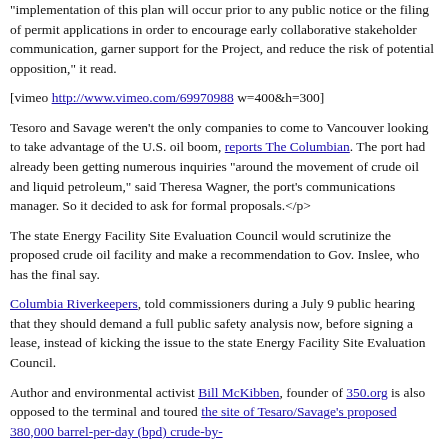implementation of this plan will occur prior to any public notice or the filing of permit applications in order to encourage early collaborative stakeholder communication, garner support for the Project, and reduce the risk of potential opposition," it read.
[vimeo http://www.vimeo.com/69970988 w=400&h=300]
Tesoro and Savage weren't the only companies to come to Vancouver looking to take advantage of the U.S. oil boom, reports The Columbian. The port had already been getting numerous inquiries "around the movement of crude oil and liquid petroleum," said Theresa Wagner, the port's communications manager. So it decided to ask for formal proposals.</p>
The state Energy Facility Site Evaluation Council would scrutinize the proposed crude oil facility and make a recommendation to Gov. Inslee, who has the final say.
Columbia Riverkeepers, told commissioners during a July 9 public hearing that they should demand a full public safety analysis now, before signing a lease, instead of kicking the issue to the state Energy Facility Site Evaluation Council.
Author and environmental activist Bill McKibben, founder of 350.org is also opposed to the terminal and toured the site of Tesaro/Savage's proposed 380,000 barrel-per-day (bpd) crude-by-